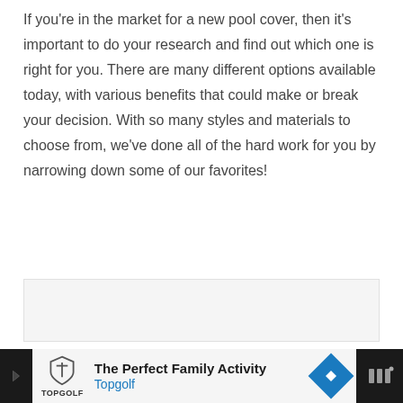If you're in the market for a new pool cover, then it's important to do your research and find out which one is right for you. There are many different options available today, with various benefits that could make or break your decision. With so many styles and materials to choose from, we've done all of the hard work for you by narrowing down some of our favorites!
[Figure (other): Blank/placeholder image area with light gray background]
[Figure (other): Advertisement banner for Topgolf: 'The Perfect Family Activity' with Topgolf logo, navigation arrow icon, and toolbar icon on dark background]